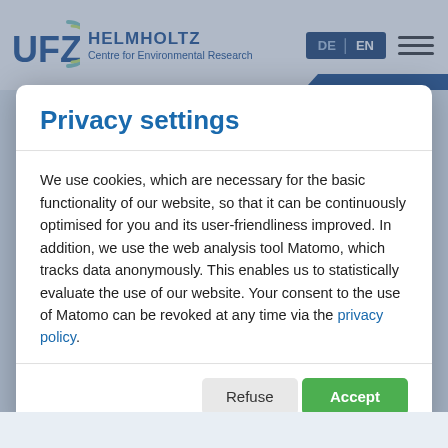[Figure (logo): UFZ Helmholtz Centre for Environmental Research logo with circular arc graphic, language switcher DE|EN, and hamburger menu icon]
full text (doi)
Izadi, P., Harnisch, F. (2022): Microbial | electrochemical CO₂ reduction: To integrate or not to
Privacy settings
We use cookies, which are necessary for the basic functionality of our website, so that it can be continuously optimised for you and its user-friendliness improved. In addition, we use the web analysis tool Matomo, which tracks data anonymously. This enables us to statistically evaluate the use of our website. Your consent to the use of Matomo can be revoked at any time via the privacy policy.
Refuse | Accept